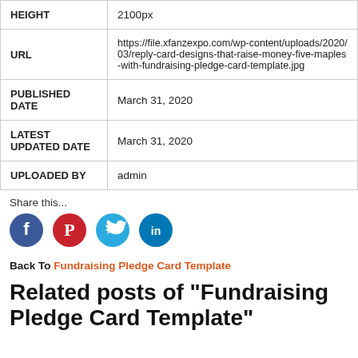| HEIGHT | 2100px |
| URL | https://file.xfanzexpo.com/wp-content/uploads/2020/03/reply-card-designs-that-raise-money-five-maples-with-fundraising-pledge-card-template.jpg |
| PUBLISHED DATE | March 31, 2020 |
| LATEST UPDATED DATE | March 31, 2020 |
| UPLOADED BY | admin |
Share this...
[Figure (infographic): Social media share icons: Facebook (blue circle with f), Pinterest (red circle with P), Twitter (cyan circle with bird), LinkedIn (teal circle with in)]
Back To Fundraising Pledge Card Template
Related posts of "Fundraising Pledge Card Template"